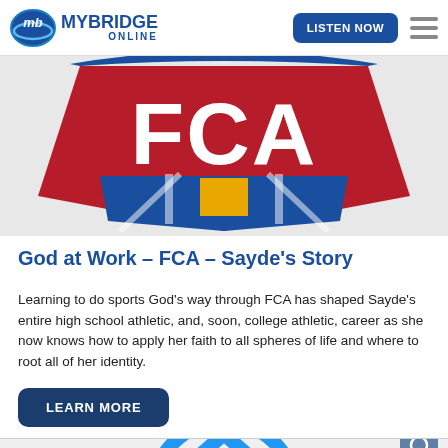MY BRIDGE ONLINE | LISTEN NOW
[Figure (logo): FCA (Fellowship of Christian Athletes) logo — large red and blue shield with white letters FCA and a gold/yellow element at center bottom]
God at Work – FCA – Sayde's Story
Learning to do sports God's way through FCA has shaped Sayde's entire high school athletic, and, soon, college athletic, career as she now knows how to apply her faith to all spheres of life and where to root all of her identity.
[Figure (logo): Partial blue circular logo visible at bottom of page]
LEARN MORE